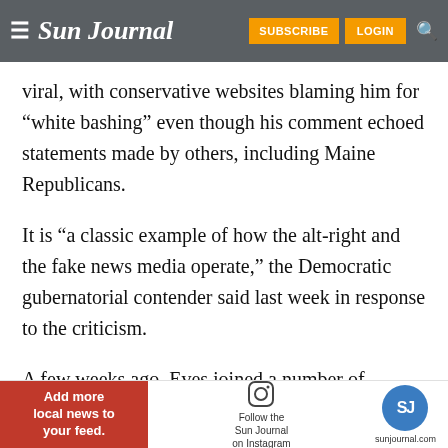Sun Journal — SUBSCRIBE LOGIN
viral, with conservative websites blaming him for “white bashing” even though his comment echoed statements made by others, including Maine Republicans.
It is “a classic example of how the alt-right and the fake news media operate,” the Democratic gubernatorial contender said last week in response to the criticism.
A few weeks ago, Eves joined a number of
[Figure (other): Advertisement banner: Add more local news to your feed. Follow the Sun Journal on Instagram. SJ logo. sunjournal.com]